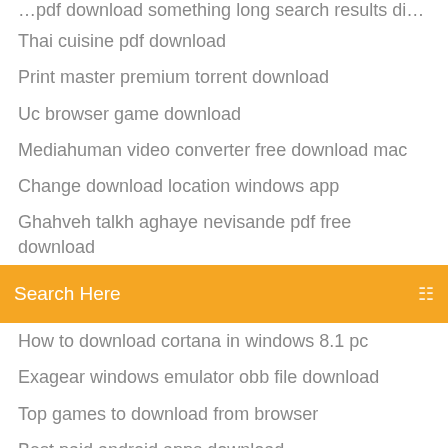Thai cuisine pdf download
Print master premium torrent download
Uc browser game download
Mediahuman video converter free download mac
Change download location windows app
Ghahveh talkh aghaye nevisande pdf free download
[Figure (screenshot): Orange search bar with text 'Search Here' and a search icon on the right]
How to download cortana in windows 8.1 pc
Exagear windows emulator obb file download
Top games to download from browser
Best paid android apps download
Free student version download of pycharm
Transformers 3 game free download full version pc
Pixel gun 3d download pc with hacks
Android minecraft pe download
Auto download pdf link
Maury tv series torrent download
Download torrenium tv on pc